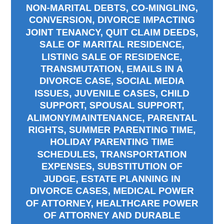NON-MARITAL DEBTS, CO-MINGLING, CONVERSION, DIVORCE IMPACTING JOINT TENANCY, QUIT CLAIM DEEDS, SALE OF MARITAL RESIDENCE, LISTING SALE OF RESIDENCE, TRANSMUTATION, EMAILS IN A DIVORCE CASE, SOCIAL MEDIA ISSUES, JUVENILE CASES, CHILD SUPPORT, SPOUSAL SUPPORT, ALIMONY/MAINTENANCE, PARENTAL RIGHTS, SUMMER PARENTING TIME, HOLIDAY PARENTING TIME SCHEDULES, TRANSPORTATION EXPENSES, SUBSTITUTION OF JUDGE, ESTATE PLANNING IN DIVORCE CASES, MEDICAL POWER OF ATTORNEY, HEALTHCARE POWER OF ATTORNEY AND DURABLE POWER OF ATTORNEY
METRO EAST LOAN MODIFICATION AND MORTGAGE FORECLOSURE DEFENSE ATTORNEY, LAW FIRM AVAILABLE TO REPRESENT CLIENTS FROM THE CARLINVILLE, MACOUPIN COUNTY, ILLINOIS AREA IN REGARD TO